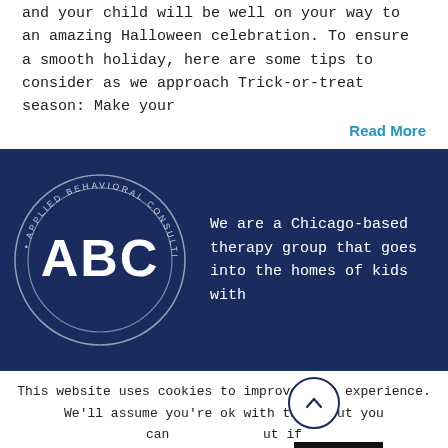and your child will be well on your way to an amazing Halloween celebration. To ensure a smooth holiday, here are some tips to consider as we approach Trick-or-treat season: Make your
Read More
[Figure (logo): Applied Behavioral Consulting (ABC) circular logo with white text on dark navy background]
We are a Chicago-based therapy group that goes into the homes of kids with
This website uses cookies to improve your experience. We'll assume you're ok with this, but you can opt out if you wish.
Cookie settings
ACCEPT